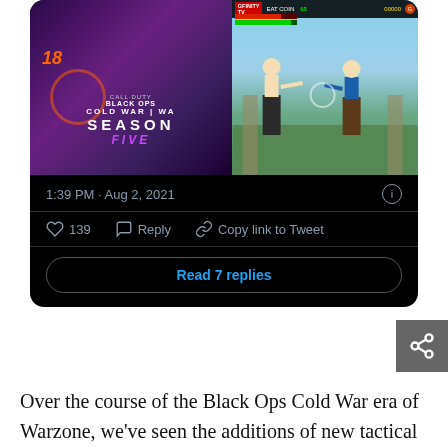[Figure (screenshot): A Twitter/tweet card on black background showing two game screenshots side by side: left is Call of Duty Black Ops Cold War Season Five promotional image, right is a retro fighting game screenshot. Below the images shows: 1:39 PM · Aug 2, 2021, with 139 likes, Reply, Copy link to Tweet actions, and a Read 7 replies button.]
[Figure (screenshot): A share/link icon button on grey background in top right area]
Over the course of the Black Ops Cold War era of Warzone, we've seen the additions of new tactical rifles, assault rifles, submachine guns, and even a Nail Gun. Although no official intel